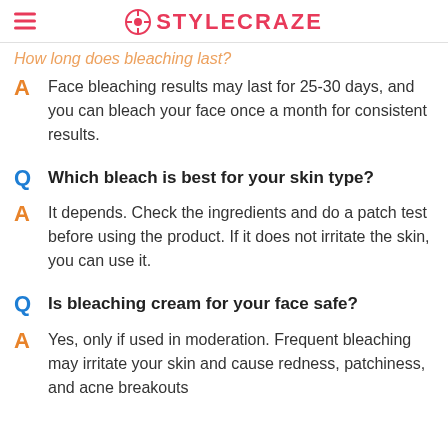STYLECRAZE
Face bleaching results may last for 25-30 days, and you can bleach your face once a month for consistent results.
Q Which bleach is best for your skin type?
A It depends. Check the ingredients and do a patch test before using the product. If it does not irritate the skin, you can use it.
Q Is bleaching cream for your face safe?
A Yes, only if used in moderation. Frequent bleaching may irritate your skin and cause redness, patchiness, and acne breakouts